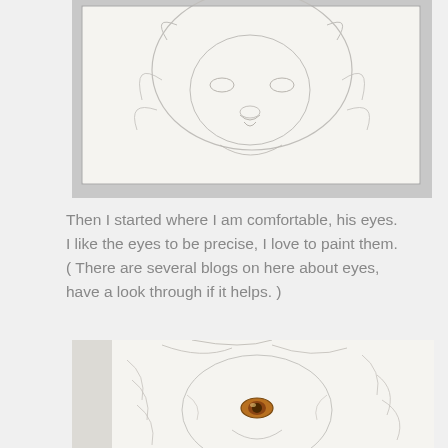[Figure (photo): A pencil sketch/outline drawing of a lion's face on white paper, viewed from above at an angle, placed on a grey surface.]
Then I started where I am comfortable, his eyes. I like the eyes to be precise, I love to paint them. ( There are several blogs on here about eyes, have a look through if it helps. )
[Figure (photo): A close-up photo of a pencil sketch of a lion's face/mane on white paper, with one eye painted in amber/orange watercolor or oil paint, the rest remaining as pencil outline.]